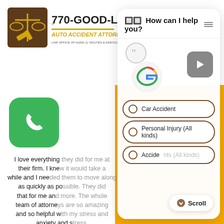[Figure (logo): 770-GOOD-LAW Auto Accident Attorneys logo with scales of justice and gavel]
[Figure (screenshot): Chat widget showing 'How can I help you?' with options: Car Accident, Personal Injury (All kinds), Accidents (All kinds) and a Scroll button]
[Figure (illustration): Green phone call button icon]
I love everything they did for me at their firm. I knew it would take a while and I needed them to move along as quickly as possible. They did that for me and more. The whole team of attorneys are so amazing and so helpful with my stress and anxiety and stress. Definitely recommend!